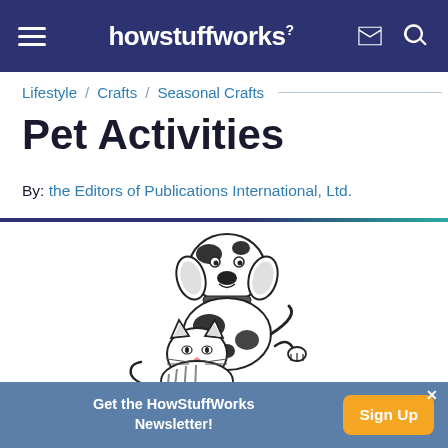howstuffworks
Lifestyle / Crafts / Seasonal Crafts
Pet Activities
By: the Editors of Publications International, Ltd.
[Figure (illustration): Black and white cartoon illustration of a dog sitting on top of a cat, both depicted in a playful style]
Get the HowStuffWorks Newsletter! Sign Up